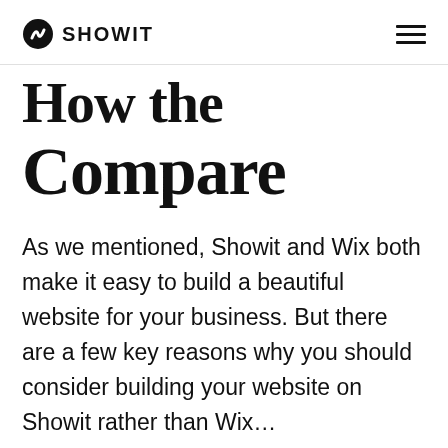SHOWIT
How the Features Compare
As we mentioned, Showit and Wix both make it easy to build a beautiful website for your business. But there are a few key reasons why you should consider building your website on Showit rather than Wix…